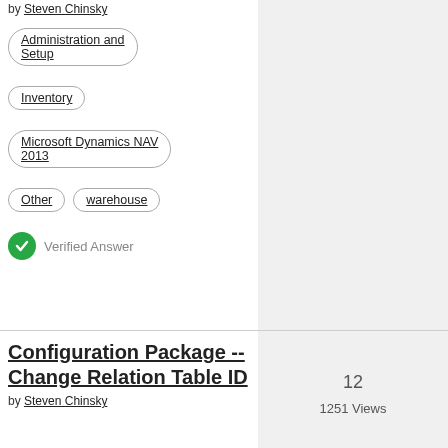by Steven Chinsky
Administration and Setup
Inventory
Microsoft Dynamics NAV 2013
Other
warehouse
Verified Answer
Configuration Package -- Change Relation Table ID
by Steven Chinsky
12
1251 Views
24 Jan 2022
1:11 PM